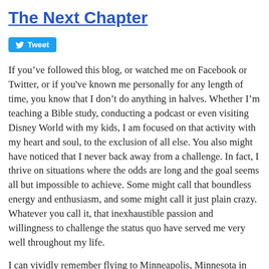The Next Chapter
[Figure (other): Tweet button with Twitter bird icon]
If you’ve followed this blog, or watched me on Facebook or Twitter, or if you've known me personally for any length of time, you know that I don’t do anything in halves. Whether I’m teaching a Bible study, conducting a podcast or even visiting Disney World with my kids, I am focused on that activity with my heart and soul, to the exclusion of all else. You also might have noticed that I never back away from a challenge. In fact, I thrive on situations where the odds are long and the goal seems all but impossible to achieve. Some might call that boundless energy and enthusiasm, and some might call it just plain crazy. Whatever you call it, that inexhaustible passion and willingness to challenge the status quo have served me very well throughout my life.
I can vividly remember flying to Minneapolis, Minnesota in 2001 to meet with a group of business people. As I stepped on the plane, I had a moment or two where I questioned what exactly I thought I was doing. I was a young guy with a growing family, and while I had been an entrepreneur since I was thirteen, I’d never walked in to a boardroom before. I wasn’t even a high school graduate. How could I possibly think I could walk in to a room with well-